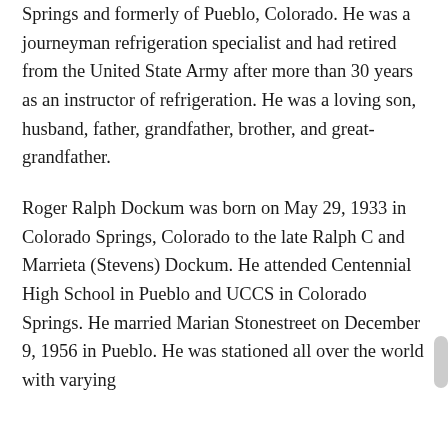Springs and formerly of Pueblo, Colorado. He was a journeyman refrigeration specialist and had retired from the United State Army after more than 30 years as an instructor of refrigeration. He was a loving son, husband, father, grandfather, brother, and great-grandfather.
Roger Ralph Dockum was born on May 29, 1933 in Colorado Springs, Colorado to the late Ralph C and Marrieta (Stevens) Dockum. He attended Centennial High School in Pueblo and UCCS in Colorado Springs. He married Marian Stonestreet on December 9, 1956 in Pueblo. He was stationed all over the world with varying